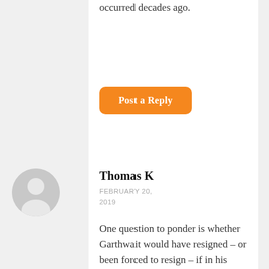occurred decades ago.
[Figure (other): Orange 'Post a Reply' button with rounded corners]
[Figure (other): Gray circular avatar icon with silhouette of a person]
Thomas K
FEBRUARY 20, 2019
One question to ponder is whether Garthwait would have resigned – or been forced to resign – if in his